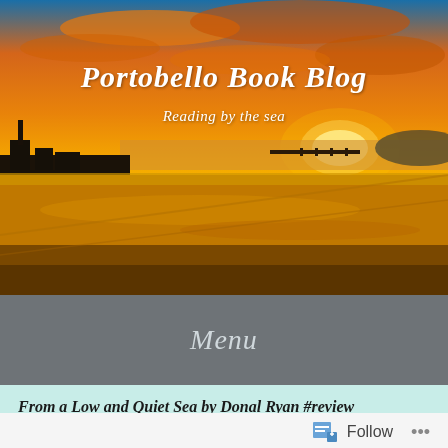[Figure (photo): Sunset beach photograph with golden orange sky reflecting on wet sand, silhouetted buildings and pier in the distance]
Portobello Book Blog
Reading by the sea
Menu
From a Low and Quiet Sea by Donal Ryan #review @doubledayUK @annecater